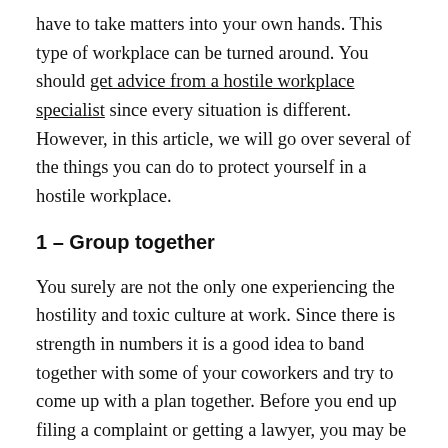have to take matters into your own hands. This type of workplace can be turned around. You should get advice from a hostile workplace specialist since every situation is different. However, in this article, we will go over several of the things you can do to protect yourself in a hostile workplace.
1 – Group together
You surely are not the only one experiencing the hostility and toxic culture at work. Since there is strength in numbers it is a good idea to band together with some of your coworkers and try to come up with a plan together. Before you end up filing a complaint or getting a lawyer, you may be able to resolve the situation before it gets too serious.
If you were to confront the problem on your own then you